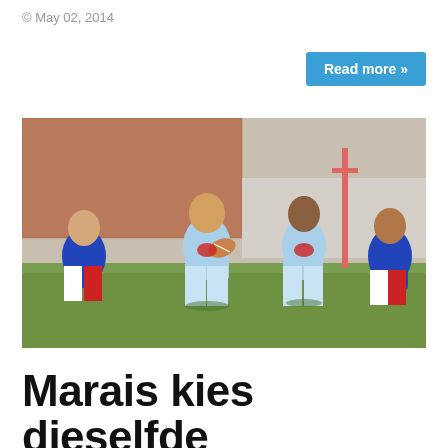© May 02, 2014
Read more »
[Figure (photo): Rugby match action photo: players in light blue jerseys (Vodacom Bulls) running with the ball, challenged by players in blue/white/red jerseys on a grass field.]
Marais kies dieselfde